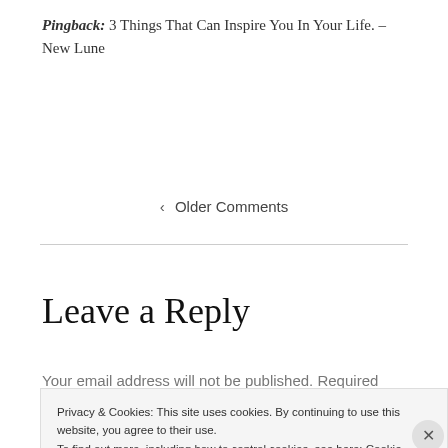Pingback: 3 Things That Can Inspire You In Your Life. – New Lune
‹   Older Comments
Leave a Reply
Your email address will not be published. Required
Privacy & Cookies: This site uses cookies. By continuing to use this website, you agree to their use.
To find out more, including how to control cookies, see here: Cookie Policy
Close and accept